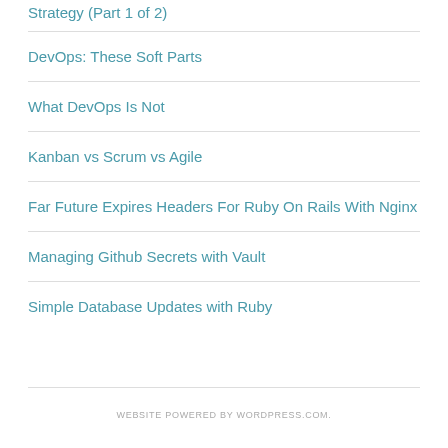Strategy (Part 1 of 2)
DevOps: These Soft Parts
What DevOps Is Not
Kanban vs Scrum vs Agile
Far Future Expires Headers For Ruby On Rails With Nginx
Managing Github Secrets with Vault
Simple Database Updates with Ruby
WEBSITE POWERED BY WORDPRESS.COM.